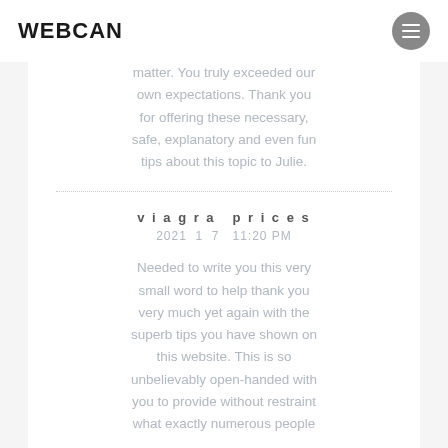WEBCAN
matter. You truly exceeded our own expectations. Thank you for offering these necessary, safe, explanatory and even fun tips about this topic to Julie.
viagra prices
2021 1 7 11:20 PM
Needed to write you this very small word to help thank you very much yet again with the superb tips you have shown on this website. This is so unbelievably open-handed with you to provide without restraint what exactly numerous people